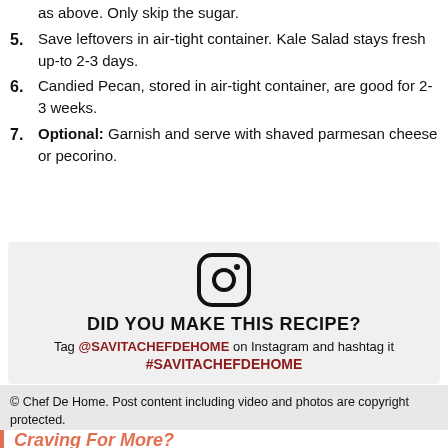as above. Only skip the sugar.
5. Save leftovers in air-tight container. Kale Salad stays fresh up-to 2-3 days.
6. Candied Pecan, stored in air-tight container, are good for 2-3 weeks.
7. Optional: Garnish and serve with shaved parmesan cheese or pecorino.
[Figure (logo): Instagram logo icon - rounded square with camera outline]
DID YOU MAKE THIS RECIPE?
Tag @SAVITACHEFDEHOME on Instagram and hashtag it #SAVITACHEFDEHOME
© Chef De Home. Post content including video and photos are copyright protected.
Craving For More?